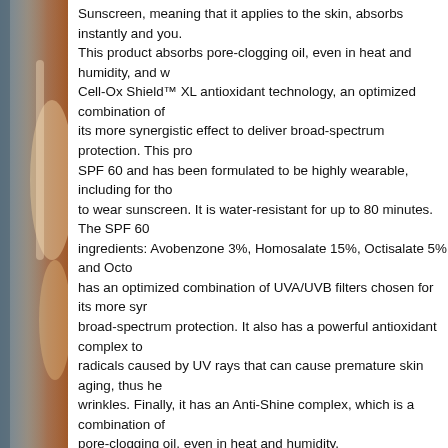[Figure (photo): Left side decorative image showing warm copper/bronze tones with a vertical strip]
Sunscreen, meaning that it applies to the skin, absorbs instantly and you. This product absorbs pore-clogging oil, even in heat and humidity, and w Cell-Ox Shield™ XL antioxidant technology, an optimized combination of its more synergistic effect to deliver broad-spectrum protection. This pro SPF 60 and has been formulated to be highly wearable, including for tho to wear sunscreen. It is water-resistant for up to 80 minutes. The SPF 60 ingredients: Avobenzone 3%, Homosalate 15%, Octisalate 5% and Octo has an optimized combination of UVA/UVB filters chosen for its more syr broad-spectrum protection. It also has a powerful antioxidant complex to radicals caused by UV rays that can cause premature skin aging, thus he wrinkles. Finally, it has an Anti-Shine complex, which is a combination of pore-clogging oil, even in heat and humidity.
While developing this unique formula La Roche-Posay looked at the mos wearing sunscreen, to ensure ANTHELIOS CLEAR SKIN Sunscreen wo for those who always have a "good excuse":
Excuse #1: "Sunscreens cause breakouts"
Answer: ANTHELIOS CLEAR SKIN Sunscreen is proven non-comedogenic so it won't
Excuse #2: "Sunscreens makes my skin look oily"
Answer: ANTHELIOS CLEAR SKIN Sunscreen is formulated with a unique oil-absorbin Silica providing anti-shine properties to help absorb excess oil and keep skin matte.
Excuse #3: "Sunscreens make my skin feel greasy"